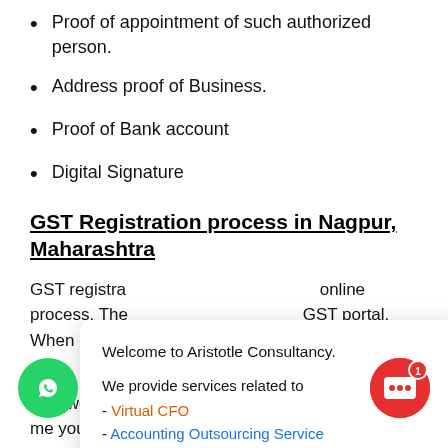Proof of appointment of such authorized person.
Address proof of Business.
Proof of Bank account
Digital Signature
GST Registration process in Nagpur, Maharashtra
GST registration in Nagpur is an online process. The GST portal. When on for the registration tal
This website us nce. We'll me you're o
[Figure (other): Popup overlay from Aristotle Consultancy listing services: Virtual CFO, Accounting Outsourcing Service, Company Compliance, and Staffing Solutions. Ends with 'Are you looking for one of these?']
[Figure (other): WhatsApp green circular button at bottom left]
[Figure (other): Red chat circular button with badge showing 1 at bottom right]